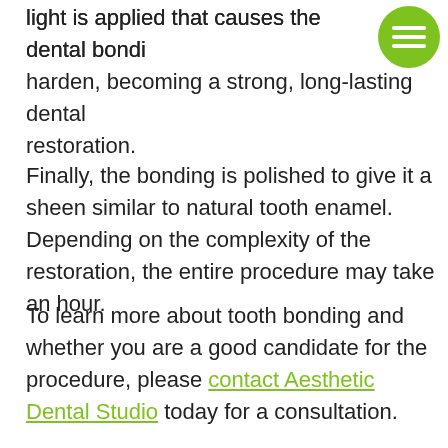light is applied that causes the dental bonding to harden, becoming a strong, long-lasting dental restoration.
Finally, the bonding is polished to give it a sheen similar to natural tooth enamel. Depending on the complexity of the restoration, the entire procedure may take an hour.
To learn more about tooth bonding and whether you are a good candidate for the procedure, please contact Aesthetic Dental Studio today for a consultation.